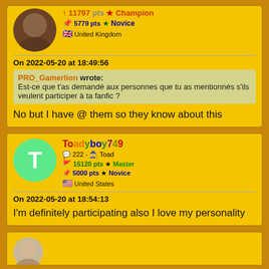11797 pts ★ Champion | 5779 pts ★ Novice | 🇬🇧 United Kingdom
On 2022-05-20 at 18:49:56
PRO_Gamerlion wrote: Est-ce que t'as demandé aux personnes que tu as mentionnés s'ils veulent participer à ta fanfic ?
No but I have @ them so they know about this
Toadyboy749 | 222 - Toad | 15120 pts ★ Master | 5000 pts ★ Novice | 🇺🇸 United States
On 2022-05-20 at 18:54:13
I'm definitely participating also I love my personality